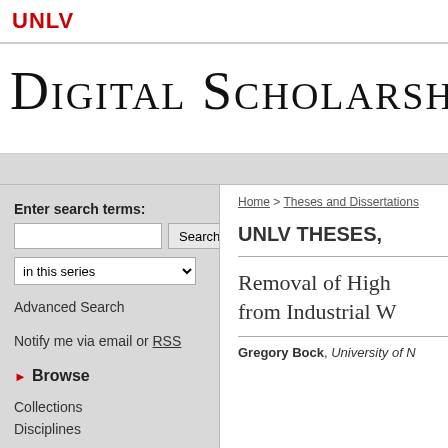UNLV
Digital Scholarship@U
Home > Theses and Dissertations
UNLV THESES,
Enter search terms:
Advanced Search
Notify me via email or RSS
Browse
Collections
Disciplines
Removal of High from Industrial W
Gregory Bock, University of N